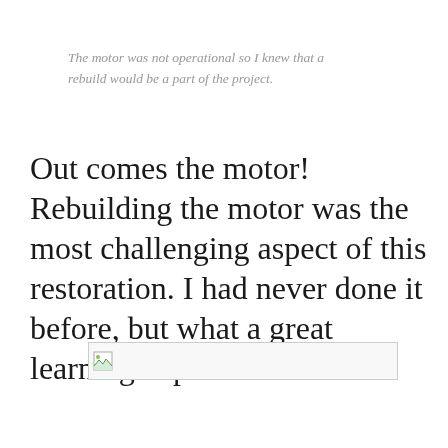The motor was not operational so I knew that a rebuild would be a part of the project.
Out comes the motor! Rebuilding the motor was the most challenging aspect of this restoration. I had never done it before, but what a great learning experience!
[Figure (photo): Broken image placeholder (image failed to load)]